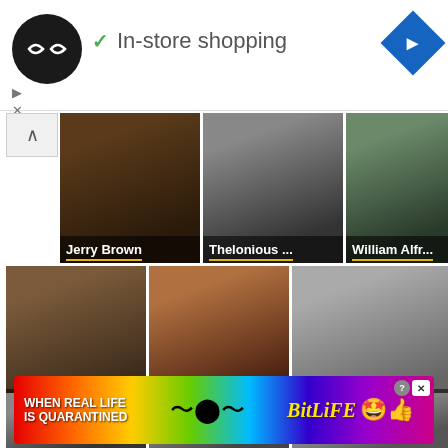[Figure (screenshot): Ad bar with circular logo, In-store shopping text with green checkmark, and blue navigation diamond icon]
In-store shopping
[Figure (photo): Grid of person thumbnails: Jerry Brown, Thelonious ..., William Alfr..., Billy Carter, Michelle Wil..., Nia Kay]
More Gemini People
[Figure (screenshot): BitLife advertisement banner: WHEN REAL LIFE IS QUARANTINED with rainbow background and BitLife logo]